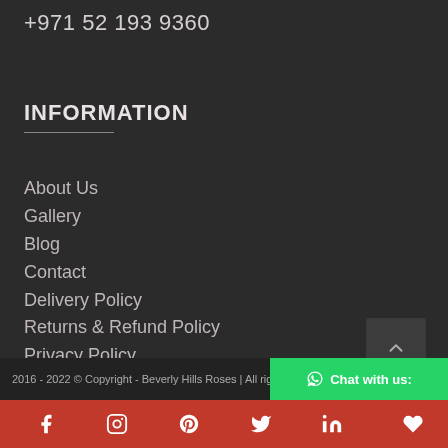+971 52 193 9360
INFORMATION
About Us
Gallery
Blog
Contact
Delivery Policy
Returns & Refund Policy
Privacy Policy
Terms and Conditions
2016 - 2022 © Copyright - Beverly Hills Roses | All rights reserved
Chat with us: